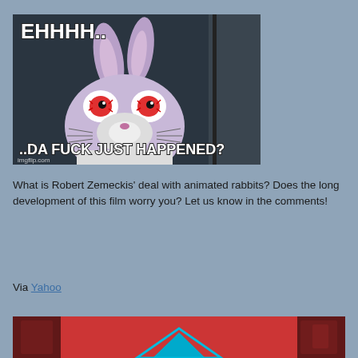[Figure (illustration): Meme image of an animated rabbit character (Bugs Bunny style) with bloodshot eyes looking shocked/confused, with text overlay: 'EHHHH..' at the top and '..DA FUCK JUST HAPPENED?' at the bottom. Watermark: imgflip.com]
What is Robert Zemeckis' deal with animated rabbits? Does the long development of this film worry you? Let us know in the comments!
Via Yahoo
[Figure (photo): Partial view of a red-toned photo showing what appears to be an interior space with lockers or industrial equipment, and a teal/blue geometric logo shape visible at the bottom center.]